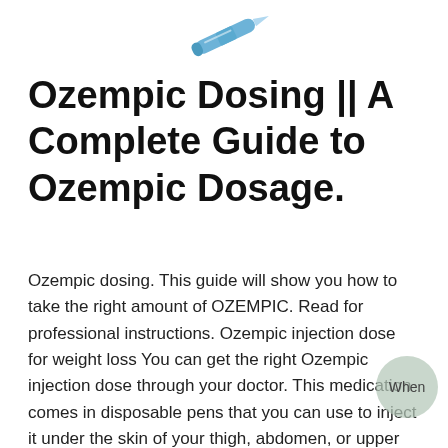[Figure (illustration): Illustration of an Ozempic injection pen, blue color, shown at an angle near the top of the page]
Ozempic Dosing || A Complete Guide to Ozempic Dosage.
Ozempic dosing. This guide will show you how to take the right amount of OZEMPIC. Read for professional instructions. Ozempic injection dose for weight loss You can get the right Ozempic injection dose through your doctor. This medication comes in disposable pens that you can use to inject it under the skin of your thigh, abdomen, or upper arm. If you want to do the treatment at home, you can follow your doctor’s instructions. When you receive the medication, you should follow the instructions carefully and inject accordingly. The